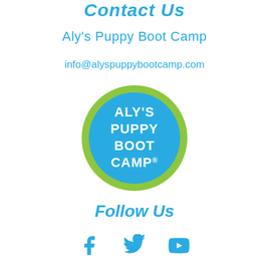Contact Us
Aly's Puppy Boot Camp
info@alyspuppybootcamp.com
[Figure (logo): Aly's Puppy Boot Camp circular logo with green border, blue background, and white bold text reading ALY'S PUPPY BOOT CAMP]
Follow Us
[Figure (infographic): Social media icons: Facebook, Twitter, YouTube in teal/blue color]